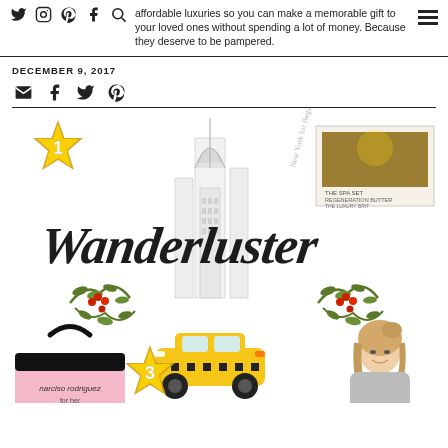affordable luxuries so you can make a memorable gift to your loved ones without spending a lot of money. Because they deserve to be pampered.
DECEMBER 9, 2017
[Figure (illustration): Wanderlust gift guide illustration featuring NYC Chrysler Building sketch in background, cursive 'Wanderluster' text, yellow taxi cab, holly berry floral wreath decoration, numbered gold glitter stars (1, 3), pink Narciso Rodriguez perfume gift set bag, product box (top right), and woman with blonde hair smiling (bottom right).]